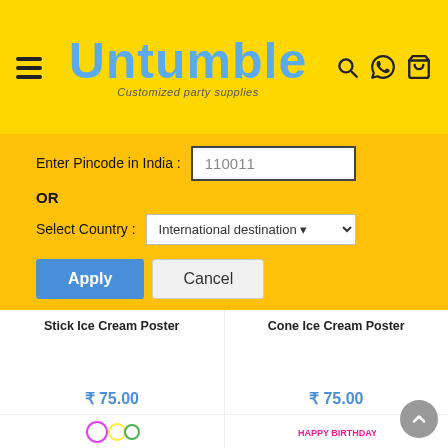[Figure (screenshot): Untumble website header with hamburger menu, logo, search, WhatsApp and cart icons on yellow background]
[Figure (screenshot): Pincode/country selection form overlay with Apply and Cancel buttons on amber background]
Stick Ice Cream Poster
₹ 75.00
Cone Ice Cream Poster
₹ 75.00
[Figure (photo): Ice cream themed hanging decoration with colorful circles containing popsicle and ice cream images]
[Figure (photo): Happy Birthday banner with ice cream cone letters spelling out HAPPY BIRTHDAY]